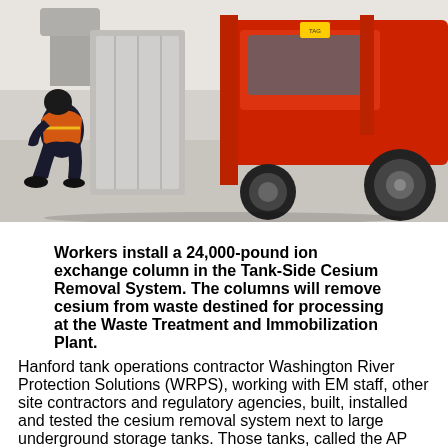[Figure (photo): A worker in an orange high-visibility vest crouching next to industrial equipment. A large red forklift/industrial truck is visible on the right. The setting is an industrial or warehouse interior with a concrete floor.]
Workers install a 24,000-pound ion exchange column in the Tank-Side Cesium Removal System. The columns will remove cesium from waste destined for processing at the Waste Treatment and Immobilization Plant.
Hanford tank operations contractor Washington River Protection Solutions (WRPS), working with EM staff, other site contractors and regulatory agencies, built, installed and tested the cesium removal system next to large underground storage tanks. Those tanks, called the AP tank farm, are located near the center of the Hanford